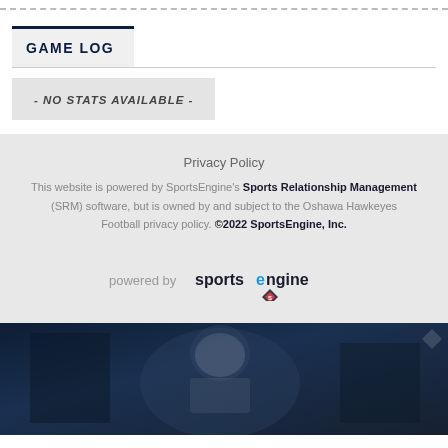GAME LOG
- NO STATS AVAILABLE -
Privacy Policy
This website is powered by SportsEngine's Sports Relationship Management (SRM) software, but is owned by and subject to the Oshawa Hawkeyes Football privacy policy. ©2022 SportsEngine, Inc.
[Figure (logo): powered by SportsEngine logo]
[Figure (photo): Dark blurred photo of football player in uniform]